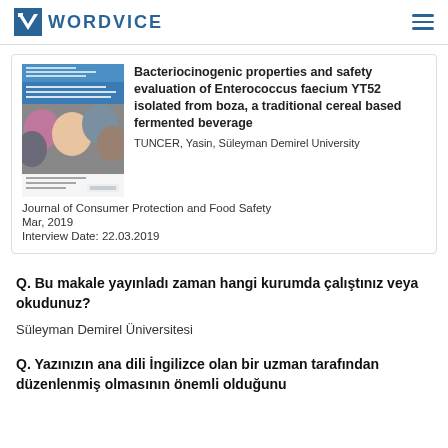WORDVICE
Bacteriocinogenic properties and safety evaluation of Enterococcus faecium YT52 isolated from boza, a traditional cereal based fermented beverage
TUNCER, Yasin, Süleyman Demirel University
Journal of Consumer Protection and Food Safety
Mar, 2019
Interview Date: 22.03.2019
Q. Bu makale yayınladı zaman hangi kurumda çalıştınız veya okudunuz?
Süleyman Demirel Üniversitesi
Q. Yazınızın ana dili İngilizce olan bir uzman tarafından düzenlenmiş olmasının önemli olduğunu